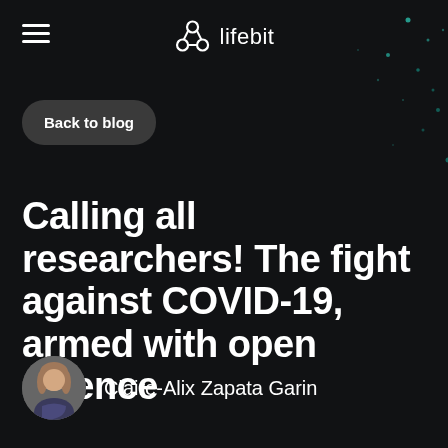lifebit
Back to blog
Calling all researchers! The fight against COVID-19, armed with open science
Claire-Alix Zapata Garin